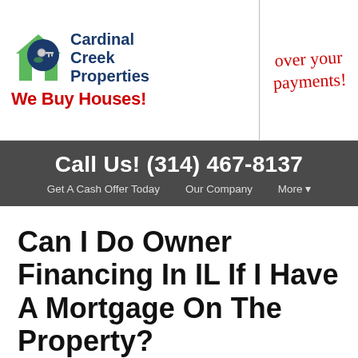[Figure (logo): Cardinal Creek Properties logo with house icon and keys, blue circle, green house shape]
[Figure (other): Handwritten red text reading 'over your payments!']
Call Us! (314) 467-8137
Get A Cash Offer Today   Our Company   More ▾
Can I Do Owner Financing In IL If I Have A Mortgage On The Property?
November 2, 2020